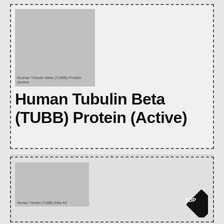[Figure (photo): Product image placeholder for Human Tubulin Beta (TUBB) Protein (Active)]
Human Tubulin Beta (TUBB) Protein (Active)
| Product ID | Supplier | Price | Size |
| --- | --- | --- | --- |
| 20-abx651449 | Abbexa | EUR 1149.00 | 100 ug |
|  |  | EUR 411.00 | 10 ug |
|  |  | EUR 3850.00 | 1 mg |
|  |  | EUR 1400.00 | 200 ug |
|  |  | EUR 787.00 | 50 ug |
[Figure (photo): Bottom product image placeholder for Human Tubulin Beta (TUBB) Protein (Active)]